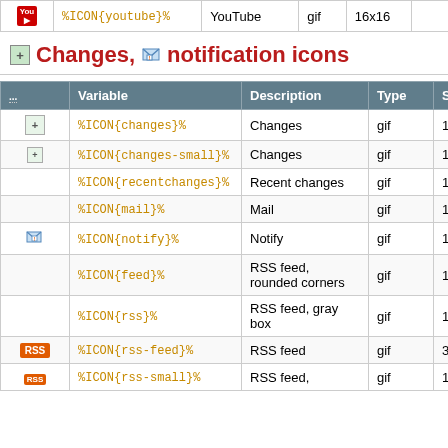|  | Variable | Description | Type | Size | Alia... |
| --- | --- | --- | --- | --- | --- |
| [YouTube icon] | %ICON{youtube}% | YouTube | gif | 16x16 |  |
Changes, notification icons
|  | Variable | Description | Type | Size | Alia... |
| --- | --- | --- | --- | --- | --- |
| [changes icon] | %ICON{changes}% | Changes | gif | 16x16 |  |
| [changes-small icon] | %ICON{changes-small}% | Changes | gif | 13x13 |  |
|  | %ICON{recentchanges}% | Recent changes | gif | 16x16 |  |
|  | %ICON{mail}% | Mail | gif | 16x16 |  |
| [notify icon] | %ICON{notify}% | Notify | gif | 16x16 |  |
|  | %ICON{feed}% | RSS feed, rounded corners | gif | 16x16 |  |
|  | %ICON{rss}% | RSS feed, gray box | gif | 16x16 |  |
| [RSS badge] | %ICON{rss-feed}% | RSS feed | gif | 36x14 |  |
| [rss small] | %ICON{rss-small}% | RSS feed, | gif | 16x16 |  |